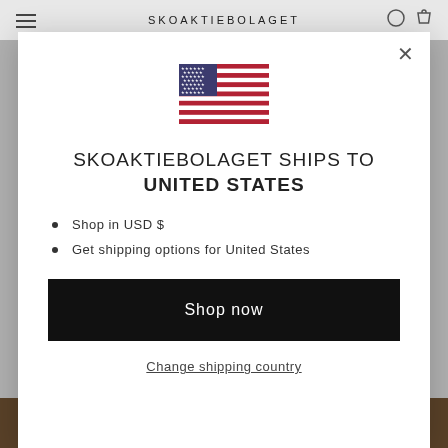SKOAKTIEBOLAGET
[Figure (illustration): USA flag icon]
SKOAKTIEBOLAGET SHIPS TO UNITED STATES
Shop in USD $
Get shipping options for United States
Shop now
Change shipping country